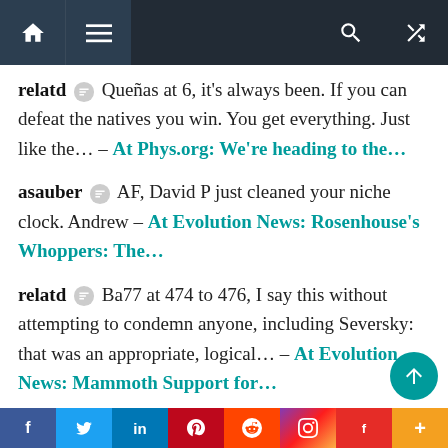Navigation bar with home, menu, search, and shuffle icons
relatd 💬 Queñas at 6, it's always been. If you can defeat the natives you win. You get everything. Just like the... – At Phys.org: We're heading to the...
asauber 💬 AF, David P just cleaned your niche clock. Andrew – At Evolution News: Rosenhouse's Whoppers: The...
relatd 💬 Ba77 at 474 to 476, I say this without attempting to condemn anyone, including Seversky: that was an appropriate, logical... – At Evolution News: Mammoth Support for...
David P 💬 @Alan Fox Perhaps my analogy should have used a roulette wheel, race cars, or plinko game. It isn't about the... – At Evolution News: Rosenhouse's
f  Twitter  in  Pinterest  Reddit  Instagram  Flipboard  +